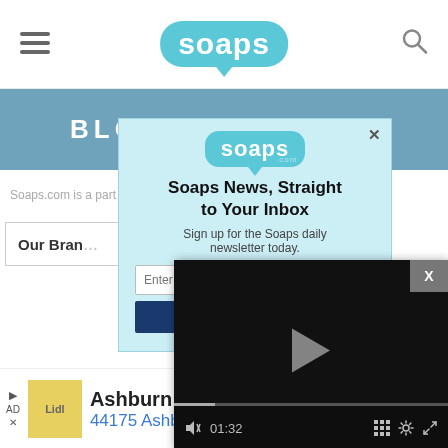[Figure (screenshot): Soaps.com website navigation bar with hamburger menu on left, soaps logo in center, search icon on right]
BLOGHER
Soaps.com is a part of  Media, LLC. All Rights
Our Brands
[Figure (screenshot): Popup modal with Soaps.com logo, title 'Soaps News, Straight to Your Inbox', subtitle 'Sign up for the Soaps daily newsletter today.', email input field, and subscribe button]
[Figure (screenshot): Video player overlay with play button, progress bar, and controls showing 01:32 timestamp]
[Figure (screenshot): Advertisement bar showing Ashburn OPEN 8AM-9PM, 44175 Ashbrook Marketpla... with navigation arrow icon]